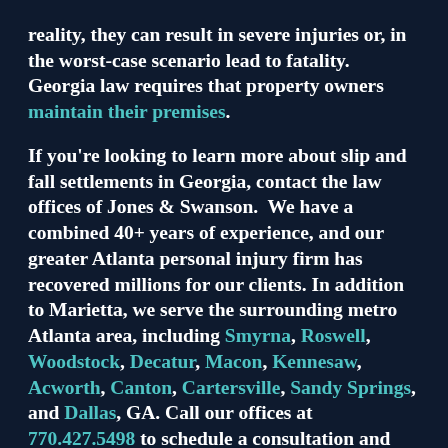reality, they can result in severe injuries or, in the worst-case scenario lead to fatality. Georgia law requires that property owners maintain their premises.
If you're looking to learn more about slip and fall settlements in Georgia, contact the law offices of Jones & Swanson. We have a combined 40+ years of experience, and our greater Atlanta personal injury firm has recovered millions for our clients. In addition to Marietta, we serve the surrounding metro Atlanta area, including Smyrna, Roswell, Woodstock, Decatur, Macon, Kennesaw, Acworth, Canton, Cartersville, Sandy Springs, and Dallas, GA. Call our offices at 770.427.5498 to schedule a consultation and discuss the details surrounding your slip and fall injuries. We can help you file a claim and we'll work to recover maximum compensation.